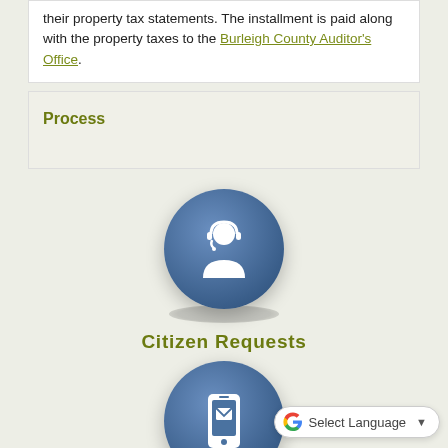their property tax statements. The installment is paid along with the property taxes to the Burleigh County Auditor's Office.
Process
[Figure (illustration): Blue circular icon with a customer service representative (person with headset) in white silhouette]
Citizen Requests
[Figure (illustration): Blue circular icon with a mobile phone/message icon in white silhouette]
Select Language